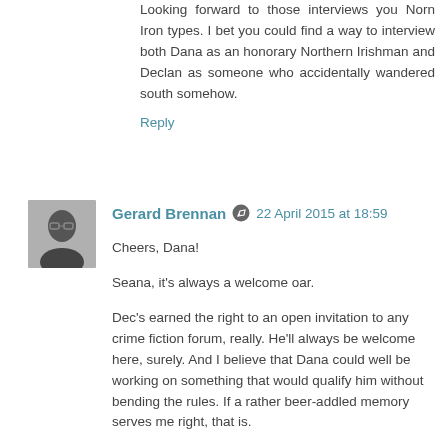Looking forward to those interviews you Norn Iron types. I bet you could find a way to interview both Dana as an honorary Northern Irishman and Declan as someone who accidentally wandered south somehow.
Reply
Gerard Brennan  22 April 2015 at 18:59
Cheers, Dana!

Seana, it's always a welcome oar.

Dec's earned the right to an open invitation to any crime fiction forum, really. He'll always be welcome here, surely. And I believe that Dana could well be working on something that would qualify him without bending the rules. If a rather beer-addled memory serves me right, that is.

gb
Reply